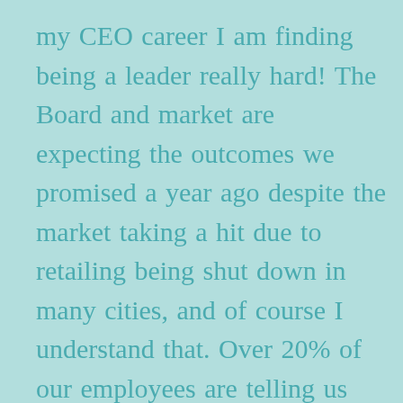my CEO career I am finding being a leader really hard! The Board and market are expecting the outcomes we promised a year ago despite the market taking a hit due to retailing being shut down in many cities, and of course I understand that. Over 20% of our employees are telling us they never want to come back to the office and some have moved away from our city, meaning they won't be able to come back in. Our company culture was built on successful collaboration, so what